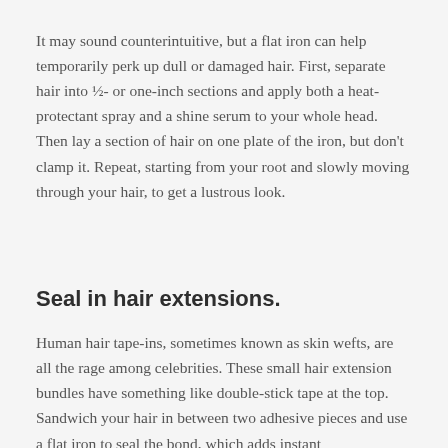It may sound counterintuitive, but a flat iron can help temporarily perk up dull or damaged hair. First, separate hair into ½- or one-inch sections and apply both a heat-protectant spray and a shine serum to your whole head. Then lay a section of hair on one plate of the iron, but don't clamp it. Repeat, starting from your root and slowly moving through your hair, to get a lustrous look.
Seal in hair extensions.
Human hair tape-ins, sometimes known as skin wefts, are all the rage among celebrities. These small hair extension bundles have something like double-stick tape at the top. Sandwich your hair in between two adhesive pieces and use a flat iron to seal the bond, which adds instant volume and much more.